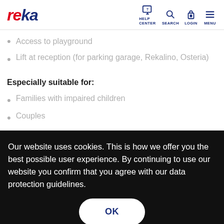reka — navigation: Help Center, Search, Login, Menu
Access to playground
Lift at reception (for parking garage, Rekalino, Osteria)
Especially suitable for:
Families with impaired children
Couples
Our website uses cookies. This is how we offer you the best possible user experience. By continuing to use our website you confirm that you agree with our data protection guidelines.